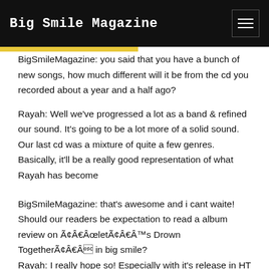Big Smile Magazine
BigSmileMagazine: you said that you have a bunch of new songs, how much different will it be from the cd you recorded about a year and a half ago?
Rayah: Well we've progressed a lot as a band & refined our sound. It's going to be a lot more of a solid sound. Our last cd was a mixture of quite a few genres. Basically, it'll be a really good representation of what Rayah has become
BigSmileMagazine: that's awesome and i cant waite! Should our readers be expectation to read a album review on Ã¢Â€ÂœletÃ¢Â€Â™s Drown TogetherÃ¢Â€Â in big smile?
Rayah: I really hope so! Especially with it's release in HT coming soon